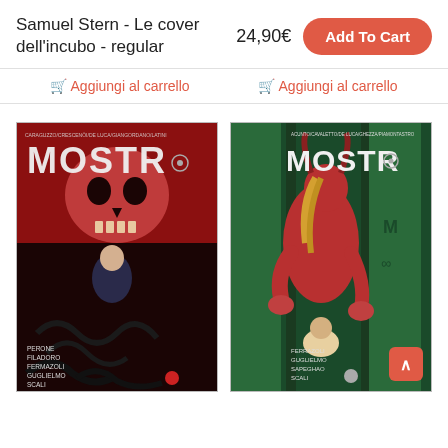Samuel Stern - Le cover dell'incubo - regular
24,90€
Add To Cart
🛒 Aggiungi al carrello
🛒 Aggiungi al carrello
[Figure (photo): Comic book cover for MOSTRA - left variant, dark red tones featuring a skull, a hooded figure, and tentacles. Credits: CARAGUZZO/CRESCENÖI/DE LUCA/GIANGORDANO/LATINI. Bottom credits: PERONE, FILADORO, FERRAZOLI, GUGLIELMO, SCALI]
[Figure (photo): Comic book cover for MOSTRA - right variant, green and red tones featuring a horned figure with a child. Credits: ACUNTO/CAVALETTO/DE LUCA/GHEZZA/PIAMONTASTRO. Bottom credits: FERRAZOLI, GUGLIELMO, SAPEGHAO, SCALI]